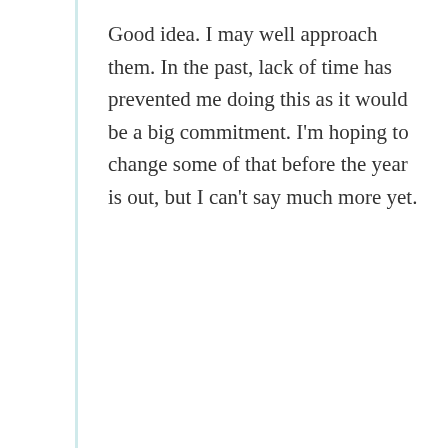Good idea. I may well approach them. In the past, lack of time has prevented me doing this as it would be a big commitment. I'm hoping to change some of that before the year is out, but I can't say much more yet.
↳ Reply
Dennis Wack
Aug 7, 2017 at 7:47 pm
I'd also like to see an Affinity version of the